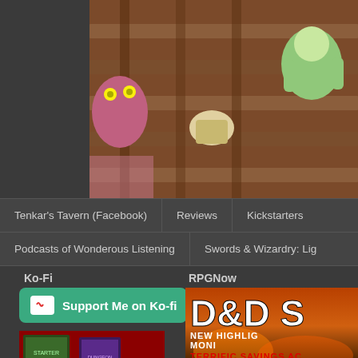[Figure (illustration): Cartoon/illustrated scene showing characters on wooden stairs, with a dark creature with yellow eyes on left and a green-clothed character on right]
Tenkar's Tavern (Facebook) | Reviews | Kickstarters | Podcasts of Wonderous Listening | Swords & Wizardry: Lig...
Ko-Fi
[Figure (other): Ko-fi support button - green button with coffee cup icon and text 'Support Me on Ko-fi']
[Figure (other): Amazon affiliate image showing D&D books Starter Set and Dungeon Master's Guide with text 'NEW TO D&D?']
Amazon
RPGNow
[Figure (other): RPGNow advertisement banner with text 'D&D S... NEW HIGHLIG... MONI... TERRIFIC SAVINGS AC...' on fiery background]
Saturday, June 1, 2019
More Down to Ea... (less than $30 a h...